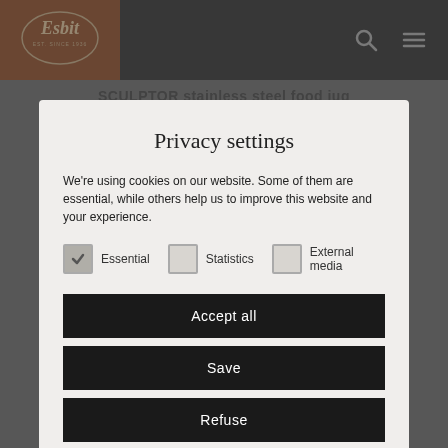[Figure (logo): Esbit logo on brown/orange background — circular logo with 'Esbit' text and 'EST. SINCE 1936' below]
SCULPTOR stainless steel food jug
FJ750SC-BK | Black
Privacy settings
We're using cookies on our website. Some of them are essential, while others help us to improve this website and your experience.
Essential  Statistics  External media
Accept all
Save
Refuse